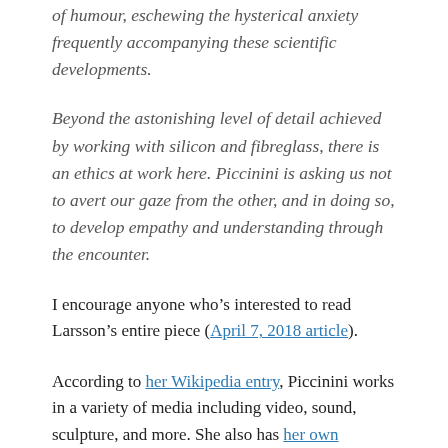of humour, eschewing the hysterical anxiety frequently accompanying these scientific developments.
Beyond the astonishing level of detail achieved by working with silicon and fibreglass, there is an ethics at work here. Piccinini is asking us not to avert our gaze from the other, and in doing so, to develop empathy and understanding through the encounter.
I encourage anyone who’s interested to read Larsson’s entire piece (April 7, 2018 article).
According to her Wikipedia entry, Piccinini works in a variety of media including video, sound, sculpture, and more. She also has her own website.
Gene editing and xenotransplantation